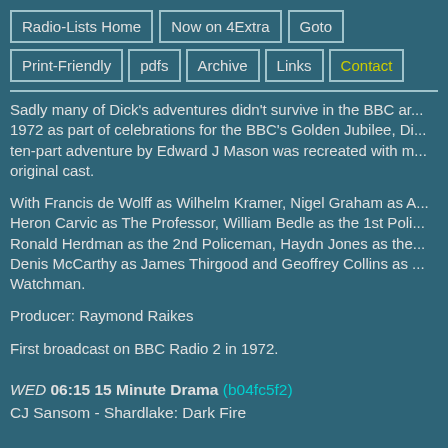Radio-Lists Home | Now on 4Extra | Goto | Print-Friendly | pdfs | Archive | Links | Contact
Sadly many of Dick's adventures didn't survive in the BBC ar... 1972 as part of celebrations for the BBC's Golden Jubilee, Di... ten-part adventure by Edward J Mason was recreated with m... original cast.
With Francis de Wolff as Wilhelm Kramer, Nigel Graham as A... Heron Carvic as The Professor, William Bedle as the 1st Poli... Ronald Herdman as the 2nd Policeman, Haydn Jones as the... Denis McCarthy as James Thirgood and Geoffrey Collins as ... Watchman.
Producer: Raymond Raikes
First broadcast on BBC Radio 2 in 1972.
WED 06:15 15 Minute Drama (b04fc5f2)
CJ Sansom - Shardlake: Dark Fire